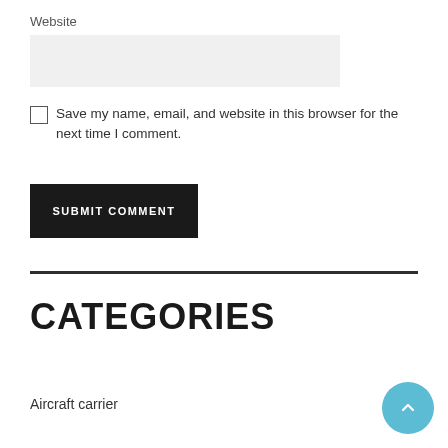Website
[Figure (screenshot): Gray input box for Website field]
Save my name, email, and website in this browser for the next time I comment.
SUBMIT COMMENT
CATEGORIES
Aircraft carrier